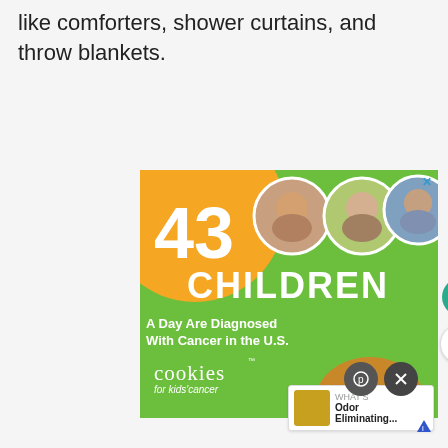like comforters, shower curtains, and throw blankets.
[Figure (infographic): Advertisement for 'Cookies for kids' cancer' showing '43 CHILDREN A Day Are Diagnosed With Cancer in the U.S.' on a green background with an orange circle, three children's photo circles, a cookie shape, and 'Let's Get Baking' text. Overlaid with UI elements: heart button, share button, small product ad thumbnail, and close/action buttons.]